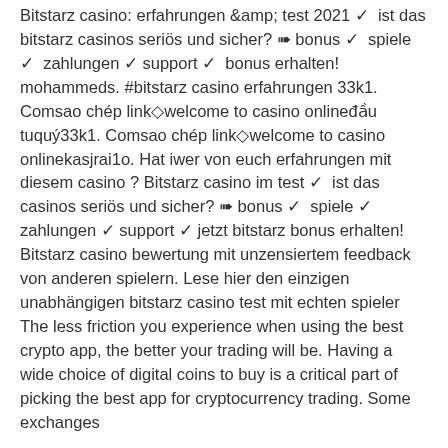Bitstarz casino: erfahrungen & test 2021 ✓ ist das bitstarz casinos seriös und sicher? ➠ bonus ✓ spiele ✓ zahlungen ✓ support ✓ bonus erhalten! mohammeds. #bitstarz casino erfahrungen 33k1. Comsao chép link◇welcome to casino onlineđầu tuquý33k1. Comsao chép link◇welcome to casino onlinekasjrai1o. Hat iwer von euch erfahrungen mit diesem casino ? Bitstarz casino im test ✓ ist das casinos seriös und sicher? ➠ bonus ✓ spiele ✓ zahlungen ✓ support ✓ jetzt bitstarz bonus erhalten! Bitstarz casino bewertung mit unzensiertem feedback von anderen spielern. Lese hier den einzigen unabhängigen bitstarz casino test mit echten spieler
The less friction you experience when using the best crypto app, the better your trading will be. Having a wide choice of digital coins to buy is a critical part of picking the best app for cryptocurrency trading. Some exchanges